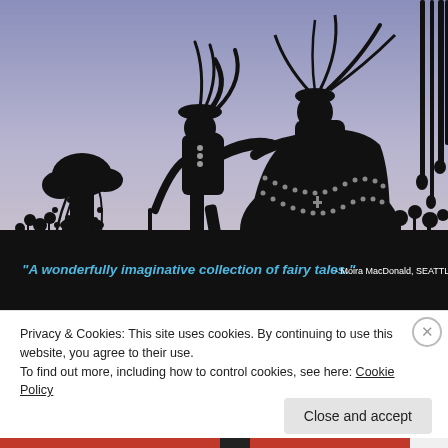[Figure (illustration): Black silhouette illustration of two ornately dressed figures (a man bowing and kissing a woman's hand) in a garden scene with decorative plants, flowers, and trees, against a blue-purple gradient sky. Below the illustration on a black background: quote text reading: "A wonderfully imaginative collection of fairy tales." - Moira MacDonald, SEATTLE TIMES]
Privacy & Cookies: This site uses cookies. By continuing to use this website, you agree to their use.
To find out more, including how to control cookies, see here: Cookie Policy